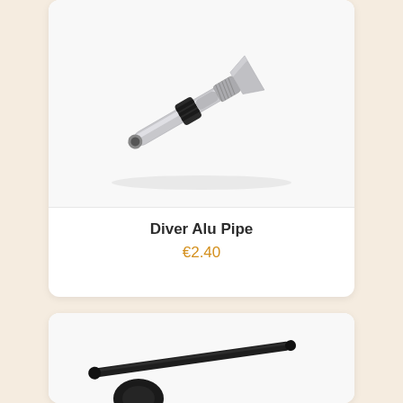[Figure (photo): Diver Alu Pipe - a silver aluminum pipe/tube with black rubber grip rings, angled diagonally, with a flared/knurled end]
Diver Alu Pipe
€2.40
[Figure (photo): A black pipe/tube shown diagonally, with a small black component visible at bottom]